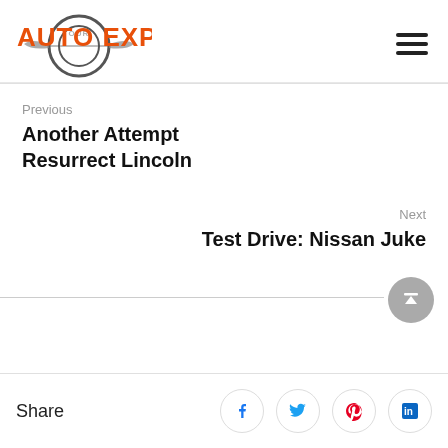[Figure (logo): Our Auto Expert logo with circular tire graphic and orange bold text]
Previous
Another Attempt Resurrect Lincoln
Next
Test Drive: Nissan Juke
Share